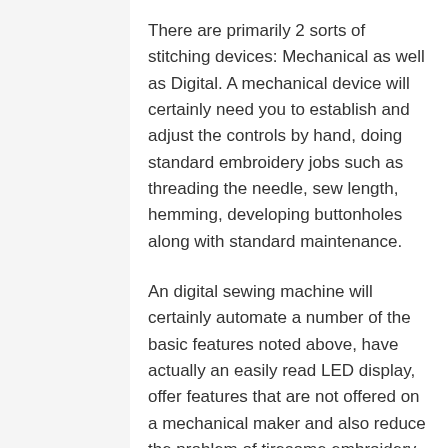There are primarily 2 sorts of stitching devices: Mechanical as well as Digital. A mechanical device will certainly need you to establish and adjust the controls by hand, doing standard embroidery jobs such as threading the needle, sew length, hemming, developing buttonholes along with standard maintenance.
An digital sewing machine will certainly automate a number of the basic features noted above, have actually an easily read LED display, offer features that are not offered on a mechanical maker and also reduce the problem of tiresome embroidery job.
A few attributes that are ideal are built-in